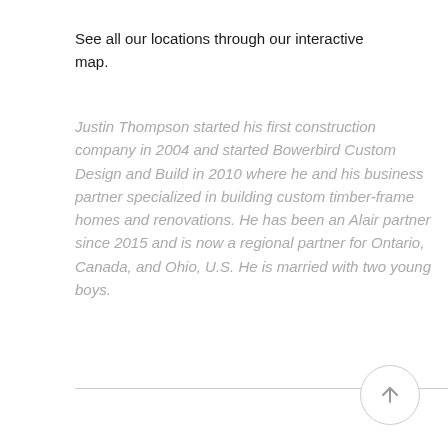See all our locations through our interactive map.
Justin Thompson started his first construction company in 2004 and started Bowerbird Custom Design and Build in 2010 where he and his business partner specialized in building custom timber-frame homes and renovations. He has been an Alair partner since 2015 and is now a regional partner for Ontario, Canada, and Ohio, U.S. He is married with two young boys.
[Figure (other): Circular back-to-top button with upward arrow icon]